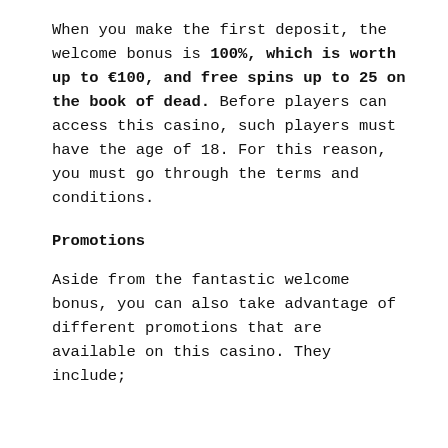When you make the first deposit, the welcome bonus is 100%, which is worth up to €100, and free spins up to 25 on the book of dead. Before players can access this casino, such players must have the age of 18. For this reason, you must go through the terms and conditions.
Promotions
Aside from the fantastic welcome bonus, you can also take advantage of different promotions that are available on this casino. They include;